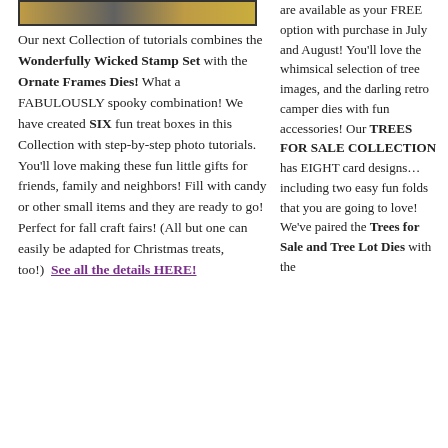[Figure (photo): A banner image with orange and dark tones at the top of the left column]
Our next Collection of tutorials combines the Wonderfully Wicked Stamp Set with the Ornate Frames Dies! What a FABULOUSLY spooky combination! We have created SIX fun treat boxes in this Collection with step-by-step photo tutorials. You'll love making these fun little gifts for friends, family and neighbors! Fill with candy or other small items and they are ready to go! Perfect for fall craft fairs! (All but one can easily be adapted for Christmas treats, too!) See all the details HERE!
are available as your FREE option with purchase in July and August! You'll love the whimsical selection of tree images, and the darling retro camper dies with fun accessories! Our TREES FOR SALE COLLECTION has EIGHT card designs… including two easy fun folds that you are going to love! We've paired the Trees for Sale and Tree Lot Dies with the